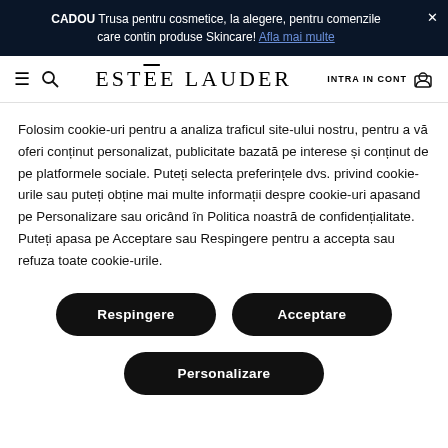CADOU Trusa pentru cosmetice, la alegere, pentru comenzile care contin produse Skincare! Afla mai multe
[Figure (logo): Estée Lauder navigation bar with hamburger menu, search icon, brand logo, login and cart icons]
Folosim cookie-uri pentru a analiza traficul site-ului nostru, pentru a vă oferi conținut personalizat, publicitate bazată pe interese și conținut de pe platformele sociale. Puteți selecta preferințele dvs. privind cookie-urile sau puteți obține mai multe informații despre cookie-uri apasand pe Personalizare sau oricând în Politica noastră de confidențialitate. Puteți apasa pe Acceptare sau Respingere pentru a accepta sau refuza toate cookie-urile.
Respingere
Acceptare
Personalizare